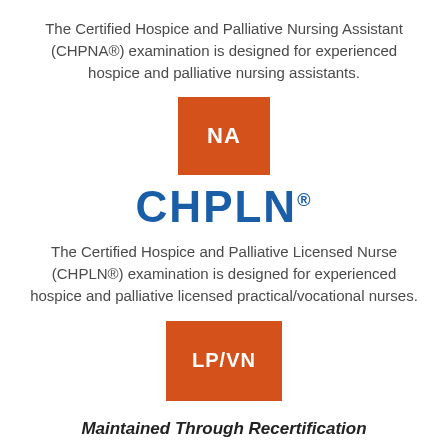The Certified Hospice and Palliative Nursing Assistant (CHPNA®) examination is designed for experienced hospice and palliative nursing assistants.
[Figure (logo): Orange square badge with white text 'NA']
[Figure (logo): CHPLN® logo in bold blue text with registered trademark superscript]
The Certified Hospice and Palliative Licensed Nurse (CHPLN®) examination is designed for experienced hospice and palliative licensed practical/vocational nurses.
[Figure (logo): Orange square badge with white text 'LP/VN']
Maintained Through Recertification